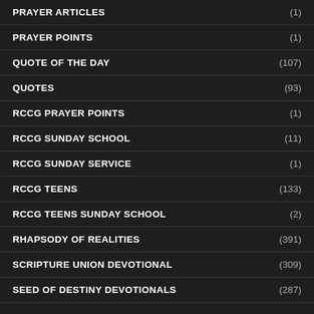PRAYER ARTICLES (1)
PRAYER POINTS (1)
QUOTE OF THE DAY (107)
QUOTES (93)
RCCG PRAYER POINTS (1)
RCCG SUNDAY SCHOOL (11)
RCCG SUNDAY SERVICE (1)
RCCG TEENS (133)
RCCG TEENS SUNDAY SCHOOL (2)
RHAPSODY OF REALITIES (391)
SCRIPTURE UNION DEVOTIONAL (309)
SEED OF DESTINY DEVOTIONALS (287)